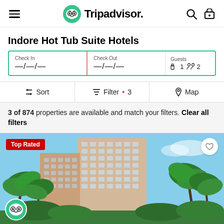Tripadvisor
Indore Hot Tub Suite Hotels
Check In —/—/— | Check Out —/—/— | Guests 1 2
Sort | Filter • 3 | Map
3 of 874 properties are available and match your filters. Clear all filters
[Figure (photo): Tall multi-story hotel building with palm trees in foreground against blue sky, labeled Top Rated]